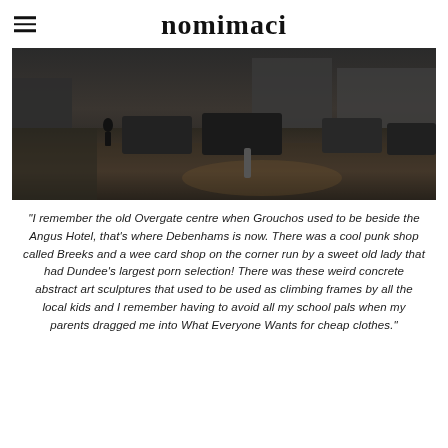nomimaci
[Figure (photo): Dark urban street scene showing a cobblestone road with parked cars, a pedestrian standing on the pavement, multi-storey buildings in the background, taken at dusk or overcast daylight.]
"I remember the old Overgate centre when Grouchos used to be beside the Angus Hotel, that's where Debenhams is now. There was a cool punk shop called Breeks and a wee card shop on the corner run by a sweet old lady that had Dundee's largest porn selection! There was these weird concrete abstract art sculptures that used to be used as climbing frames by all the local kids and I remember having to avoid all my school pals when my parents dragged me into What Everyone Wants for cheap clothes."